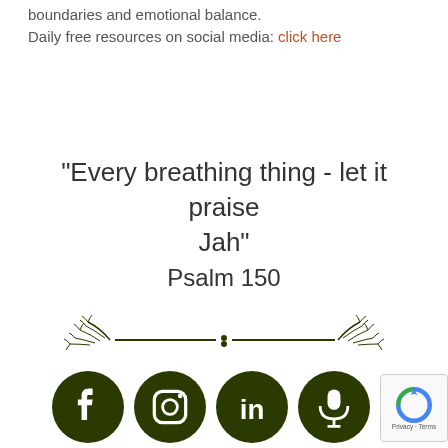boundaries and emotional balance. Daily free resources on social media: click here
"Every breathing thing - let it praise Jah" Psalm 150
[Figure (illustration): Decorative floral divider with branches and horizontal lines]
[Figure (infographic): Four dark olive green social media icon circles: Facebook, Instagram, LinkedIn, and a podcast/microphone icon. Partial reCAPTCHA badge visible at right edge.]